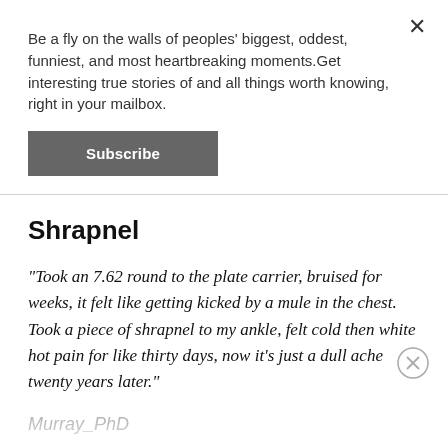Be a fly on the walls of peoples' biggest, oddest, funniest, and most heartbreaking moments.Get interesting true stories of and all things worth knowing, right in your mailbox.
Subscribe
Shrapnel
"Took an 7.62 round to the plate carrier, bruised for weeks, it felt like getting kicked by a mule in the chest. Took a piece of shrapnel to my ankle, felt cold then white hot pain for like thirty days, now it's just a dull ache twenty years later."
Murray_PhD